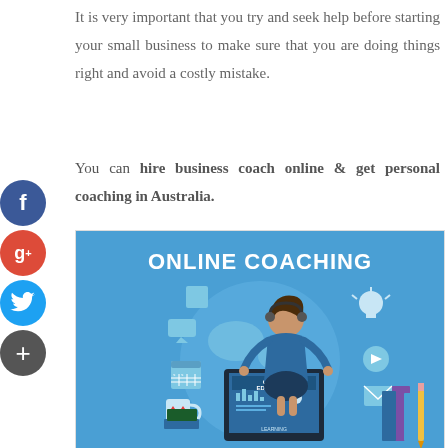It is very important that you try and seek help before starting your small business to make sure that you are doing things right and avoid a costly mistake.
You can hire business coach online & get personal coaching in Australia.
[Figure (illustration): Online coaching infographic with a woman wearing a headset standing in front of a globe, a tablet showing 'ONLINE EDUCATION', books, a lightbulb, and various icons. Title reads 'ONLINE COACHING' in white bold text on a blue background.]